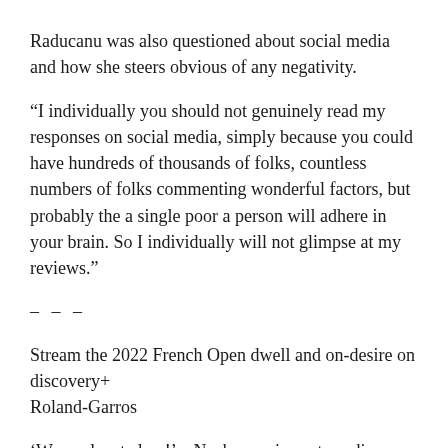Raducanu was also questioned about social media and how she steers obvious of any negativity.
“I individually you should not genuinely read my responses on social media, simply because you could have hundreds of thousands of folks, countless numbers of folks commenting wonderful factors, but probably the a single poor a person will adhere in your brain. So I individually will not glimpse at my reviews.”
– – –
Stream the 2022 French Open dwell and on-desire on discovery+
Roland-Garros
‘Wow, planet class!’ – Noskova wins extraordinary stage versus Raducanu